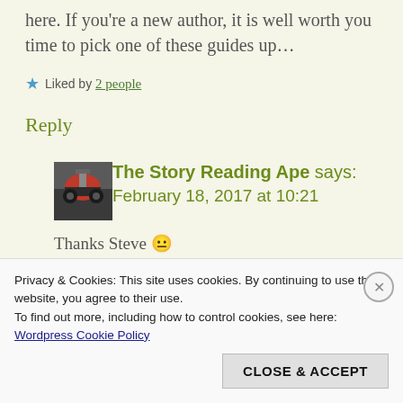here. If you're a new author, it is well worth you time to pick one of these guides up…
★ Liked by 2 people
Reply
[Figure (photo): Avatar image of The Story Reading Ape - a steam train photo]
The Story Reading Ape says: February 18, 2017 at 10:21
Thanks Steve 😐
Privacy & Cookies: This site uses cookies. By continuing to use this website, you agree to their use.
To find out more, including how to control cookies, see here: Wordpress Cookie Policy
CLOSE & ACCEPT